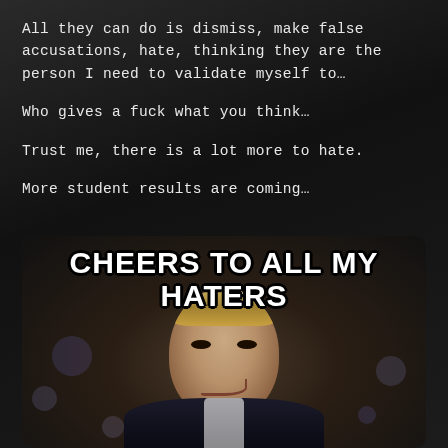All they can do is dismiss, make false accusations, hate, thinking they are the person I need to validate myself to…
Who gives a fuck what you think…
Trust me, there is a lot more to hate.
More student results are coming…
[Figure (photo): Meme image of a man in a suit with a slight smirk, with bold white text overlay reading 'CHEERS TO ALL MY HATERS']